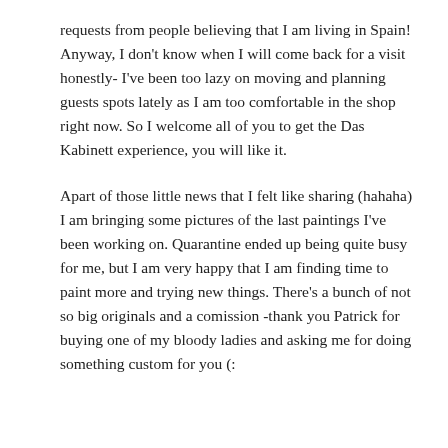requests from people believing that I am living in Spain! Anyway, I don't know when I will come back for a visit honestly- I've been too lazy on moving and planning guests spots lately as I am too comfortable in the shop right now. So I welcome all of you to get the Das Kabinett experience, you will like it.
Apart of those little news that I felt like sharing (hahaha) I am bringing some pictures of the last paintings I've been working on. Quarantine ended up being quite busy for me, but I am very happy that I am finding time to paint more and trying new things. There's a bunch of not so big originals and a comission -thank you Patrick for buying one of my bloody ladies and asking me for doing something custom for you (: